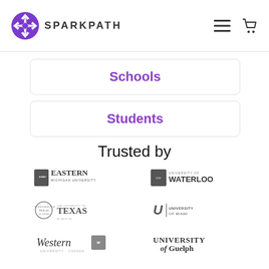[Figure (logo): SparkPath logo with purple compass star circle and SPARKPATH text, plus hamburger menu and cart icons]
Schools
Students
Trusted by
[Figure (logo): Eastern Michigan University logo]
[Figure (logo): University of Waterloo logo]
[Figure (logo): The University of Texas at Austin logo]
[Figure (logo): University of Miami logo]
[Figure (logo): Western University Canada logo]
[Figure (logo): University of Guelph logo]